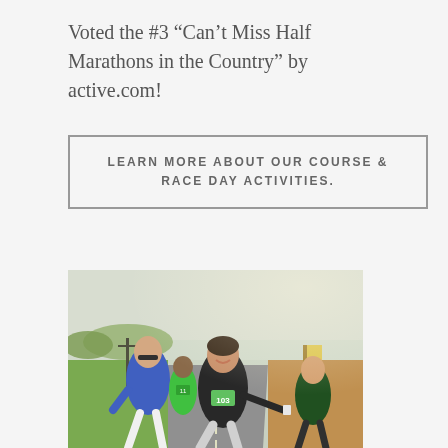Voted the #3 “Can’t Miss Half Marathons in the Country” by active.com!
LEARN MORE ABOUT OUR COURSE & RACE DAY ACTIVITIES.
[Figure (photo): Runners participating in a half marathon on a road. A woman in a black top wearing race bib #103 is smiling and reaching toward a volunteer handing out water/refreshments. Another runner in a blue top with sunglasses runs alongside. More runners are visible in the background on a flat road with green grass and utility poles.]